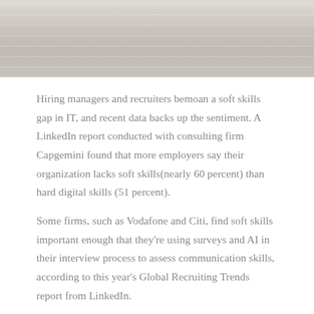[Figure (photo): Blurred background photo showing light-colored horizontal ridged or layered surface, likely architectural detail or fabric, in muted beige/gray tones.]
Hiring managers and recruiters bemoan a soft skills gap in IT, and recent data backs up the sentiment. A LinkedIn report conducted with consulting firm Capgemini found that more employers say their organization lacks soft skills(nearly 60 percent) than hard digital skills (51 percent).
Some firms, such as Vodafone and Citi, find soft skills important enough that they're using surveys and AI in their interview process to assess communication skills, according to this year's Global Recruiting Trends report from LinkedIn.
We talked with experts and hiring managers to produce